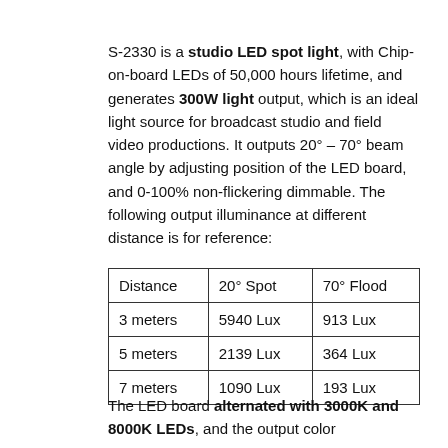S-2330 is a studio LED spot light, with Chip-on-board LEDs of 50,000 hours lifetime, and generates 300W light output, which is an ideal light source for broadcast studio and field video productions. It outputs 20° - 70° beam angle by adjusting position of the LED board, and 0-100% non-flickering dimmable. The following output illuminance at different distance is for reference:
| Distance | 20° Spot | 70° Flood |
| --- | --- | --- |
| 3 meters | 5940 Lux | 913 Lux |
| 5 meters | 2139 Lux | 364 Lux |
| 7 meters | 1090 Lux | 193 Lux |
The LED board alternated with 3000K and 8000K LEDs, and the output color temperature can be continuously adjusted light between 3000K